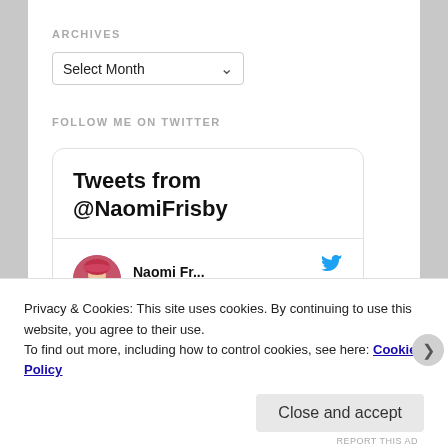ARCHIVES
[Figure (screenshot): A dropdown select box showing 'Select Month' with a downward arrow]
FOLLOW ME ON TWITTER
[Figure (screenshot): Twitter widget showing 'Tweets from @NaomiFrisby' header, then a tweet from Naomi Fr... (@... · Sep 1): 'Thinking of moving in to Blackwell's Manchester so I']
Privacy & Cookies: This site uses cookies. By continuing to use this website, you agree to their use. To find out more, including how to control cookies, see here: Cookie Policy
Close and accept